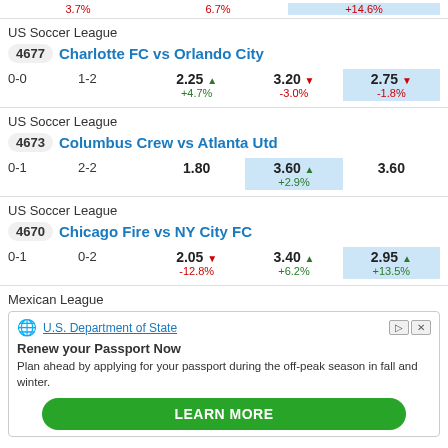3.7% | 6.7% | +14.6%
US Soccer League
4677 Charlotte FC vs Orlando City
| Score1 | Score2 | Odds1 | Odds2 | Odds3 |
| --- | --- | --- | --- | --- |
| 0-0 | 1-2 | 2.25 ▲ +4.7% | 3.20 ▼ -3.0% | 2.75 ▼ -1.8% |
US Soccer League
4673 Columbus Crew vs Atlanta Utd
| Score1 | Score2 | Odds1 | Odds2 | Odds3 |
| --- | --- | --- | --- | --- |
| 0-1 | 2-2 | 1.80 | 3.60 ▲ +2.9% | 3.60 |
US Soccer League
4670 Chicago Fire vs NY City FC
| Score1 | Score2 | Odds1 | Odds2 | Odds3 |
| --- | --- | --- | --- | --- |
| 0-1 | 0-2 | 2.05 ▼ -12.8% | 3.40 ▲ +6.2% | 2.95 ▲ +13.5% |
Mexican League
[Figure (other): Advertisement for U.S. Department of State passport renewal]
U.S. Department of State
Renew your Passport Now
Plan ahead by applying for your passport during the off-peak season in fall and winter.
LEARN MORE